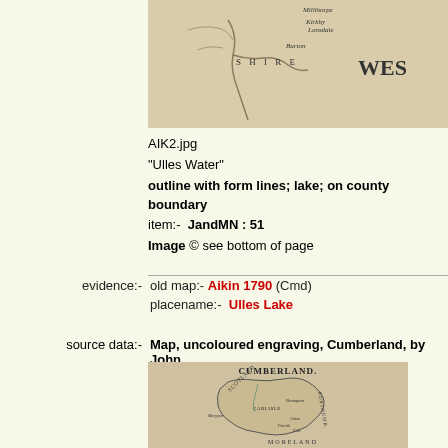[Figure (map): Partial historical map showing county boundary area with Shire and West label, old engraving style]
AIK2.jpg
"Ulles Water"
outline with form lines; lake; on county boundary
item:-  JandMN : 51
Image © see bottom of page
evidence:-  old map:- Aikin 1790 (Cmd)
placename:-  Ulles Lake
source data:-  Map, uncoloured engraving, Cumberland, by John
[Figure (map): Historical engraving map of Cumberland county showing Scotland border, Carlisle, and surrounding areas labeled CUMBERLAND.]